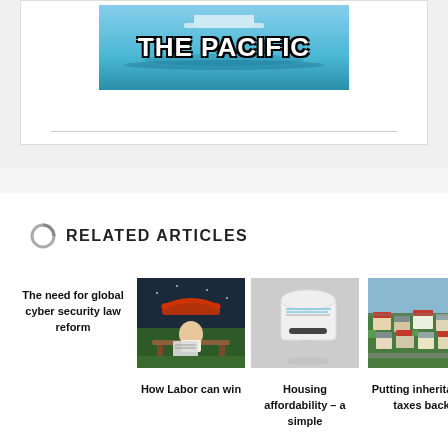[Figure (illustration): Banner image with teal/ocean background and bold white text reading 'THE PACIFIC' with black outline stroke]
RELATED ARTICLES
The need for global cyber security law reform
[Figure (illustration): Cartoon illustration showing a person on a park bench reading a newspaper at night]
How Labor can win
[Figure (photo): Photo of a white mailbox with mail inside]
Housing affordability – a simple
[Figure (photo): Aerial photo of suburban houses and neighborhood]
Putting inheritance taxes back